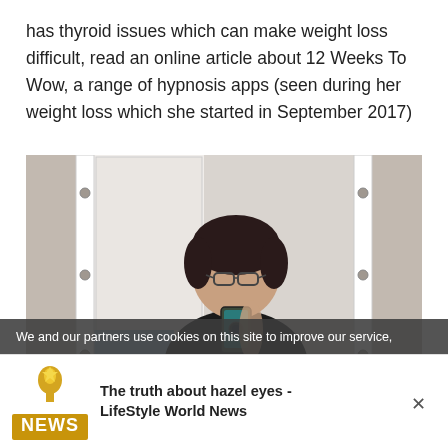has thyroid issues which can make weight loss difficult, read an online article about 12 Weeks To Wow, a range of hypnosis apps (seen during her weight loss which she started in September 2017)
[Figure (photo): A person taking a mirror selfie, wearing glasses and a black tank top. The mirror has a white frame with visible screws on the sides. The background shows a room with a door visible in the reflection.]
We and our partners use cookies on this site to improve our service,
[Figure (logo): NEWS logo with a golden trophy/award figure on top]
The truth about hazel eyes - LifeStyle World News